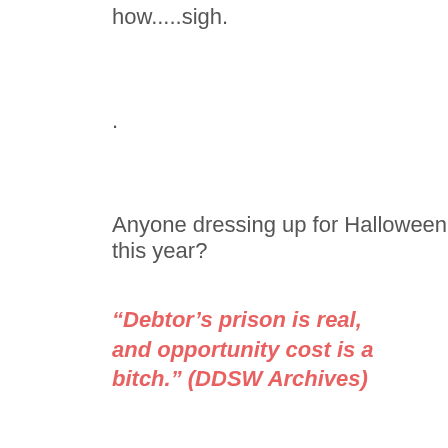how.....sigh.
.
Anyone dressing up for Halloween this year?
“Debtor’s prison is real, and opportunity cost is a bitch.” (DDSW Archives)